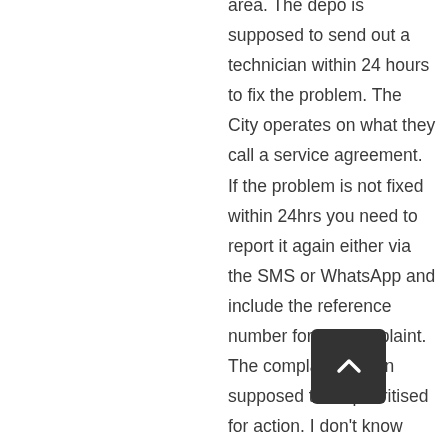area. The depo is supposed to send out a technician within 24 hours to fix the problem. The City operates on what they call a service agreement. If the problem is not fixed within 24hrs you need to report it again either via the SMS or WhatsApp and include the reference number for the complaint. The complaint is then supposed to be prioritised for action. I don't know what you do if you still fail to get a response from the City. But I would keep sending messages with the